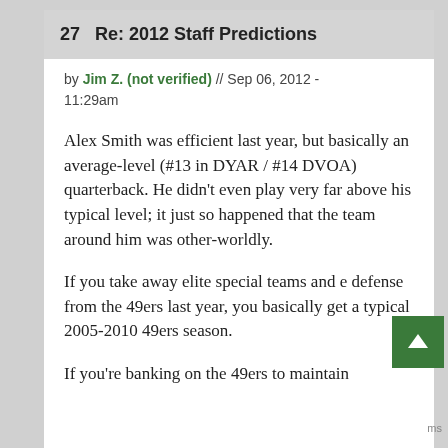27   Re: 2012 Staff Predictions
by Jim Z. (not verified) // Sep 06, 2012 - 11:29am
Alex Smith was efficient last year, but basically an average-level (#13 in DYAR / #14 DVOA) quarterback. He didn't even play very far above his typical level; it just so happened that the team around him was other-worldly.
If you take away elite special teams and e defense from the 49ers last year, you basically get a typical 2005-2010 49ers season.
If you're banking on the 49ers to maintain